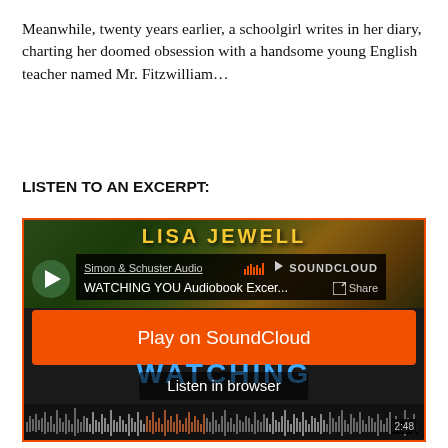Meanwhile, twenty years earlier, a schoolgirl writes in her diary, charting her doomed obsession with a handsome young English teacher named Mr. Fitzwilliam…
LISTEN TO AN EXCERPT:
[Figure (screenshot): SoundCloud embedded audio player widget for 'WATCHING YOU Audiobook Excer...' by Simon & Schuster Audio. Shows play button, track info, orange 'Play on SoundCloud' button, 'Listen in browser' overlay, book cover background with 'WATCHING YOU' title in blue, and audio waveform at bottom with timestamp 2:48.]